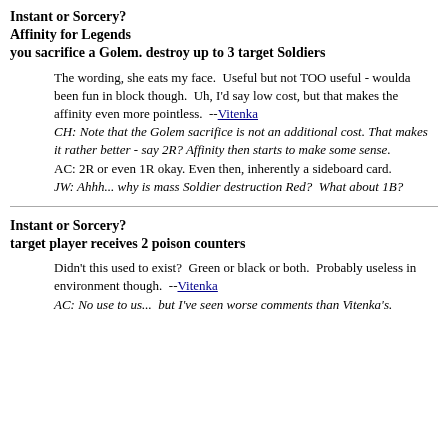Instant or Sorcery?
Affinity for Legends
you sacrifice a Golem. destroy up to 3 target Soldiers
The wording, she eats my face.  Useful but not TOO useful - woulda been fun in block though.  Uh, I'd say low cost, but that makes the affinity even more pointless.  --Vitenka
CH: Note that the Golem sacrifice is not an additional cost.  That makes it rather better - say 2R? Affinity then starts to make some sense.
AC: 2R or even 1R okay. Even then, inherently a sideboard card.
JW: Ahhh... why is mass Soldier destruction Red?  What about 1B?
Instant or Sorcery?
target player receives 2 poison counters
Didn't this used to exist?  Green or black or both.  Probably useless in environment though.  --Vitenka
AC: No use to us...  but I've seen worse comments than Vitenka's.